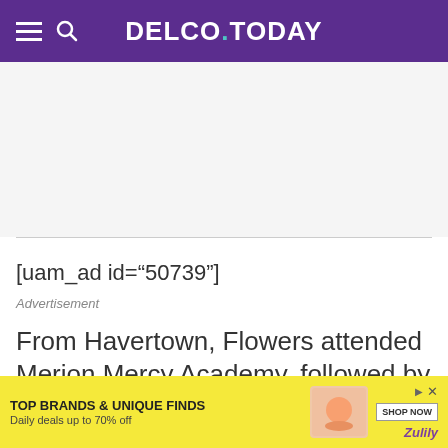DELCO.TODAY
[Figure (other): Empty advertisement space placeholder area]
[uam_ad id="50739"]
Advertisement
From Havertown, Flowers attended Merion Mercy Academy, followed by Bryn Mawr College...
[Figure (other): Bottom advertisement banner: TOP BRANDS & UNIQUE FINDS, Daily deals up to 70% off, SHOP NOW, Zulily]